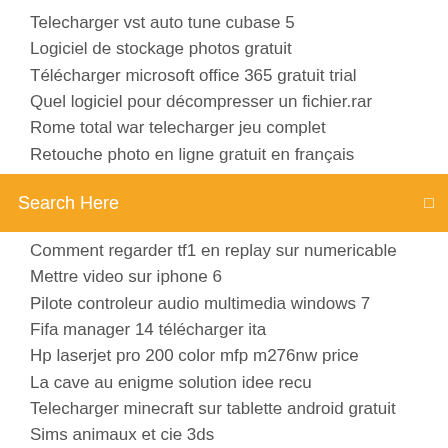Telecharger vst auto tune cubase 5
Logiciel de stockage photos gratuit
Télécharger microsoft office 365 gratuit trial
Quel logiciel pour décompresser un fichier.rar
Rome total war telecharger jeu complet
Retouche photo en ligne gratuit en français
[Figure (screenshot): Orange search bar with text 'Search Here' and a small icon on the right]
Comment regarder tf1 en replay sur numericable
Mettre video sur iphone 6
Pilote controleur audio multimedia windows 7
Fifa manager 14 télécharger ita
Hp laserjet pro 200 color mfp m276nw price
La cave au enigme solution idee recu
Telecharger minecraft sur tablette android gratuit
Sims animaux et cie 3ds
Jeux battle royale gratuit en ligne
Couper une musique mp3 gratuit